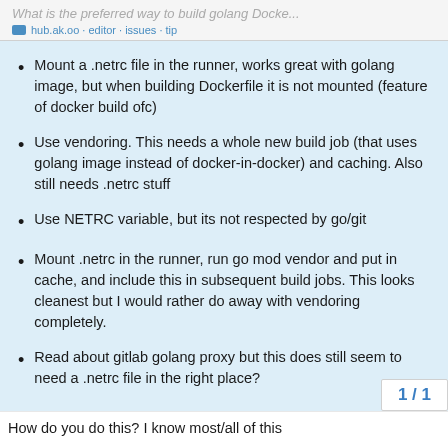What is the preferred way to build golang Docke...
Mount a .netrc file in the runner, works great with golang image, but when building Dockerfile it is not mounted (feature of docker build ofc)
Use vendoring. This needs a whole new build job (that uses golang image instead of docker-in-docker) and caching. Also still needs .netrc stuff
Use NETRC variable, but its not respected by go/git
Mount .netrc in the runner, run go mod vendor and put in cache, and include this in subsequent build jobs. This looks cleanest but I would rather do away with vendoring completely.
Read about gitlab golang proxy but this does still seem to need a .netrc file in the right place?
How do you do this? I know most/all of this